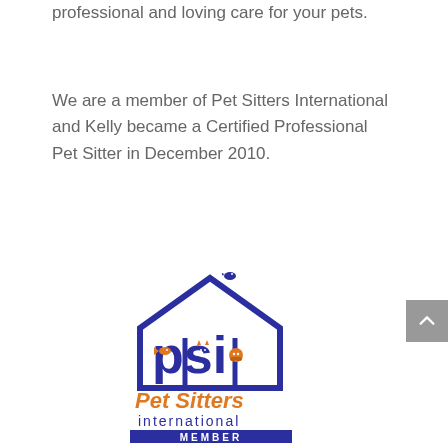professional and loving care for your pets.
We are a member of Pet Sitters International and Kelly became a Certified Professional Pet Sitter in December 2010.
[Figure (logo): Pet Sitters International (PSI) member logo — blue house outline with a bird on top, large blue 'psi' letters with orange cat, fish, and dog face icons inside, orange italic 'Pet Sitters' text, blue 'international' text below, and a blue 'MEMBER' banner at the bottom.]